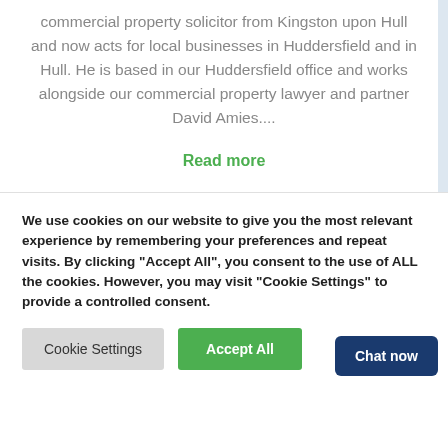commercial property solicitor from Kingston upon Hull and now acts for local businesses in Huddersfield and in Hull. He is based in our Huddersfield office and works alongside our commercial property lawyer and partner David Amies....
Read more
We use cookies on our website to give you the most relevant experience by remembering your preferences and repeat visits. By clicking "Accept All", you consent to the use of ALL the cookies. However, you may visit "Cookie Settings" to provide a controlled consent.